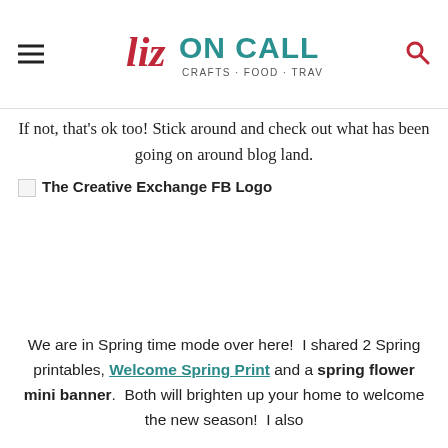Liz ON CALL — CRAFTS · FOOD · TRAVEL
If not, that's ok too!  Stick around and check out what has been going on around blog land.
[Figure (logo): The Creative Exchange FB Logo — broken image placeholder with alt text]
We are in Spring time mode over here!  I shared 2 Spring printables, Welcome Spring Print and a spring flower mini banner.  Both will brighten up your home to welcome the new season!  I also